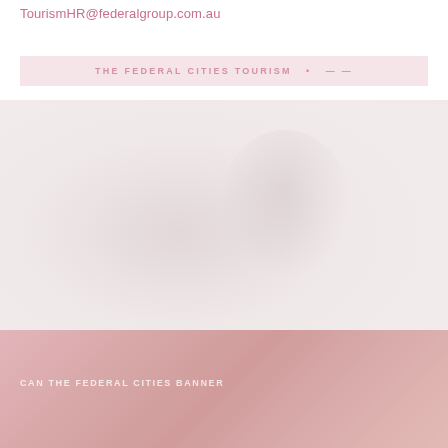TourismHR@federalgroup.com.au
THE FEDERAL CITIES TOURISM ...
[Figure (photo): Faded/washed-out photograph of a person or landmark, very light pink-white tones, used as background image in the middle section of the page]
[Figure (photo): Reddish-pink toned photograph at bottom of page, appears to show a cityscape or architectural scene with warm red/pink color wash overlay]